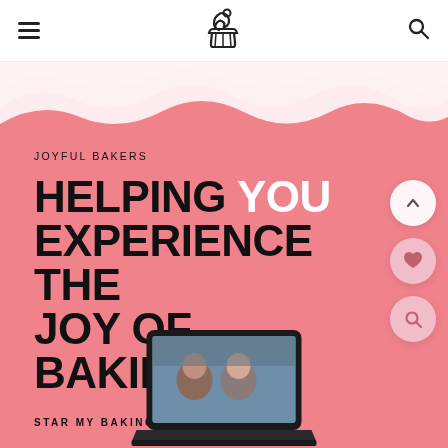[Figure (logo): Cupcake logo icon in the navigation bar center]
JOYFUL BAKERS navigation bar with hamburger menu, cupcake logo, and search icon
JOYFUL BAKERS
HELPING YOU EXPERIENCE THE JOY OF BAKING!
STAR MY BAKING JOURNEY →
[Figure (photo): Laptop screen showing baking video at the bottom of the hero section]